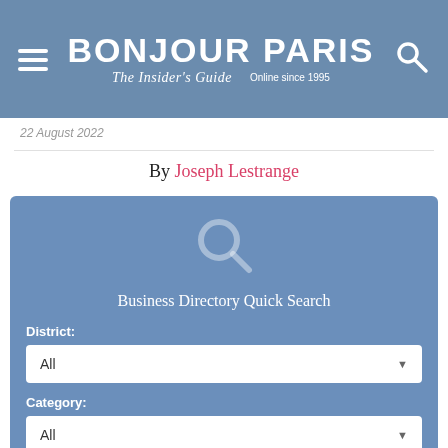BONJOUR PARIS — The Insider's Guide — Online since 1995
22 August 2022
By Joseph Lestrange
[Figure (screenshot): Business Directory Quick Search widget with a search icon, District dropdown (All), and Category dropdown (All) on a steel-blue background]